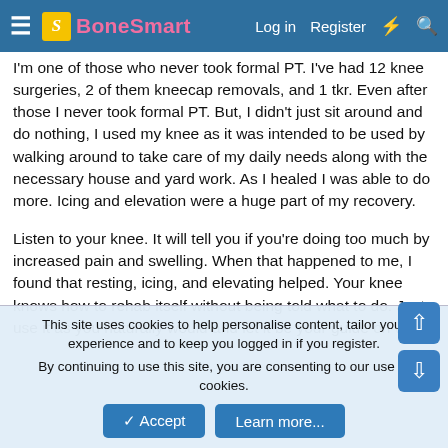BoneSmart — Log in | Register
I'm one of those who never took formal PT. I've had 12 knee surgeries, 2 of them kneecap removals, and 1 tkr. Even after those I never took formal PT. But, I didn't just sit around and do nothing, I used my knee as it was intended to be used by walking around to take care of my daily needs along with the necessary house and yard work. As I healed I was able to do more. Icing and elevation were a huge part of my recovery.
Listen to your knee. It will tell you if you're doing too much by increased pain and swelling. When that happened to me, I found that resting, icing, and elevating helped. Your knee knows how to rehab itself without being told what to do. Just use it as you naturally would and let it be your guide on what
This site uses cookies to help personalise content, tailor your experience and to keep you logged in if you register.
By continuing to use this site, you are consenting to our use of cookies.